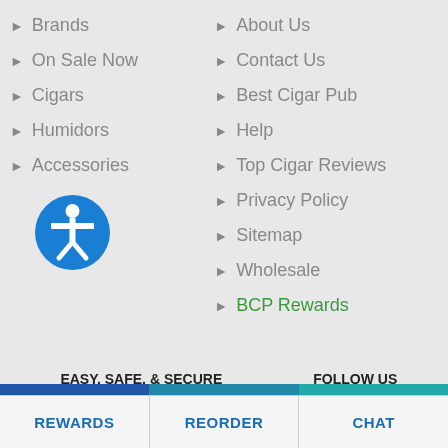Brands
On Sale Now
Cigars
Humidors
Accessories
About Us
Contact Us
Best Cigar Pub
Help
Top Cigar Reviews
Privacy Policy
Sitemap
Wholesale
BCP Rewards
[Figure (logo): Blue circular accessibility icon with white human figure]
EASY, SAFE, & SECURE
[Figure (logo): 100% Satisfaction Guarantee blue badge]
[Figure (logo): BBB Accredited Business A+ badge]
FOLLOW US
[Figure (infographic): Social media icons: Facebook, Twitter, YouTube, Instagram on black backgrounds]
REWARDS | REORDER | CHAT